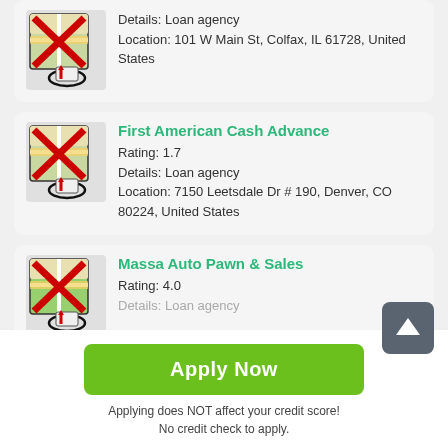[Figure (screenshot): Map icon with red X overlay and red pin marker circled]
Details: Loan agency
Location: 101 W Main St, Colfax, IL 61728, United States
[Figure (screenshot): Map icon with red X overlay and red pin marker circled]
First American Cash Advance
Rating: 1.7
Details: Loan agency
Location: 7150 Leetsdale Dr # 190, Denver, CO 80224, United States
[Figure (screenshot): Map icon with red X overlay and red pin marker circled]
Massa Auto Pawn & Sales
Rating: 4.0
Details: Loan agency
Apply Now
Applying does NOT affect your credit score!
No credit check to apply.